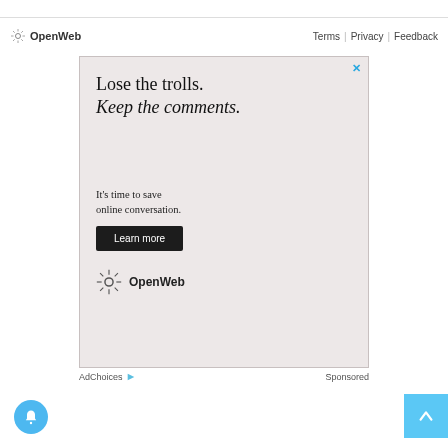[Figure (screenshot): Top white bar with border]
OpenWeb   Terms | Privacy | Feedback
[Figure (infographic): OpenWeb advertisement: Lose the trolls. Keep the comments. It's time to save online conversation. Learn more button. OpenWeb logo.]
AdChoices ▷   Sponsored
[Figure (other): Bell notification button (blue circle) bottom left, and scroll-to-top button (cyan square) bottom right]